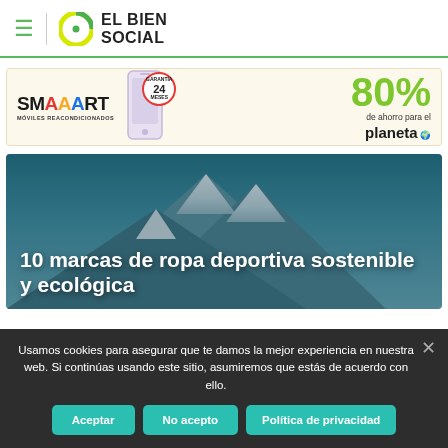EL BIEN SOCIAL
[Figure (screenshot): SMAAART móviles reacondicionados advertisement banner with phone image, 24 months guarantee badge, 80% de ahorro para el planeta]
[Figure (photo): Mountain landscape with snow-capped peaks (teal/blue tones) serving as hero image background for article titled '10 marcas de ropa deportiva sostenible y ecológica']
10 marcas de ropa deportiva sostenible y ecológica
Usamos cookies para asegurar que te damos la mejor experiencia en nuestra web. Si continúas usando este sitio, asumiremos que estás de acuerdo con ello.